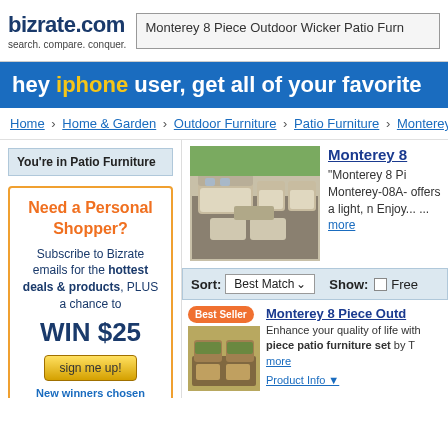bizrate.com search. compare. conquer. | Monterey 8 Piece Outdoor Wicker Patio Furn
hey iphone user, get all of your favorite
Home › Home & Garden › Outdoor Furniture › Patio Furniture › Monterey 8 P
You're in Patio Furniture
Need a Personal Shopper?

Subscribe to Bizrate emails for the hottest deals & products, PLUS a chance to

WIN $25

sign me up!

New winners chosen weekly. No purchase necessary.
[Figure (photo): Monterey 8 piece outdoor wicker patio furniture set photo]
Monterey 8
"Monterey 8 Pi Monterey-08A- offers a light, n Enjoy... ... more
Sort: Best Match  Show: ☐ Free
[Figure (photo): Monterey 8 Piece Outdoor patio furniture thumbnail]
Best Seller
Monterey 8 Piece Outd
Enhance your quality of life with piece patio furniture set by T more
Product Info